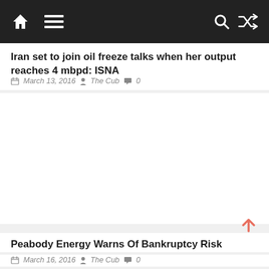Navigation bar with home, menu, search, and shuffle icons
Iran set to join oil freeze talks when her output reaches 4 mbpd: ISNA
March 13, 2016 The Cub 0
[Figure (photo): Image placeholder area (white space) for the Iran oil article]
Peabody Energy Warns Of Bankruptcy Risk
March 16, 2016 The Cub 0